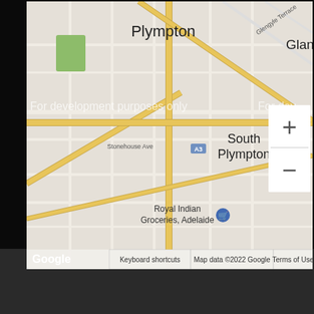[Figure (map): Google Maps screenshot showing Plympton and South Plympton area in Adelaide, Australia. Shows street grid with major roads in yellow/gold, suburb labels including Plympton, Glandore, South Plympton, landmarks including Royal Indian Groceries Adelaide. Watermark reads 'For development purposes only'. Map controls include zoom in (+) and zoom out (-) buttons. Footer shows Google logo, Keyboard shortcuts, Map data ©2022 Google, Terms of Use. The map is displayed on a dark/black background page.]